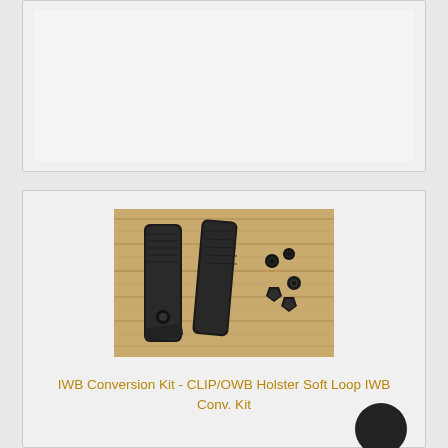[Figure (other): White/light gray empty card placeholder at the top of the page]
[Figure (photo): Photo of two black plastic/leather IWB loop straps with screws and hardware pieces laid on a wood surface]
IWB Conversion Kit - CLIP/OWB Holster Soft Loop IWB Conv. Kit